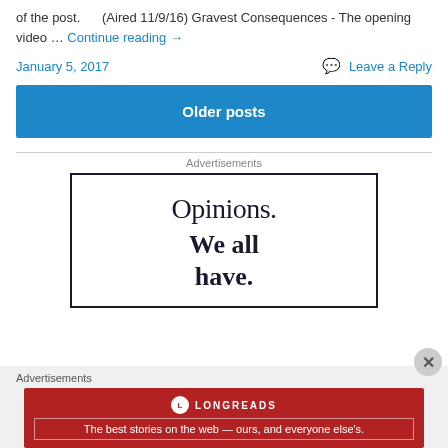of the post.        (Aired 11/9/16) Gravest Consequences - The opening video … Continue reading →
January 5, 2017
Leave a Reply
Older posts
Advertisements
[Figure (other): Advertisement box with text: Opinions. We all have.]
Advertisements
[Figure (other): Longreads banner ad - The best stories on the web — ours, and everyone else's.]